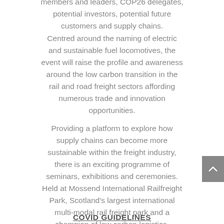members and leaders, COP26 delegates, potential investors, potential future customers and supply chains.
Centred around the naming of electric and sustainable fuel locomotives, the event will raise the profile and awareness around the low carbon transition in the rail and road freight sectors affording numerous trade and innovation opportunities.
Providing a platform to explore how supply chains can become more sustainable within the freight industry, there is an exciting programme of seminars, exhibitions and ceremonies. Held at Mossend International Railfreight Park, Scotland's largest international multi-modal rail freight park and a champion of low carbon logistics.
COVID GUIDELINES